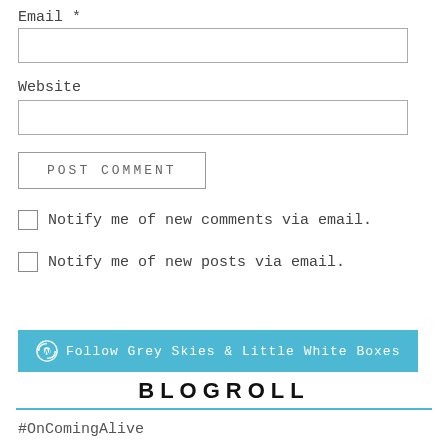Email *
Website
POST COMMENT
Notify me of new comments via email.
Notify me of new posts via email.
[Figure (other): Follow Grey Skies & Little White Boxes button with WordPress logo on teal background]
BLOGROLL
#OnComingAlive